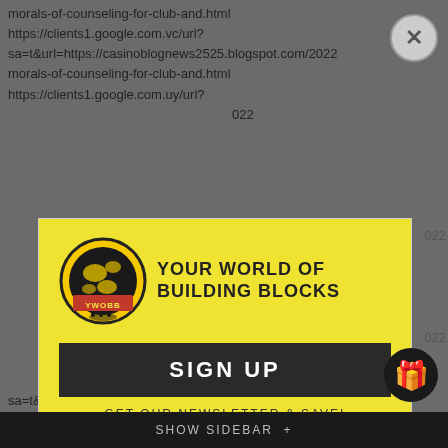morals-of-counseling-for-club-and.html
https://clients1.google.com.vc/url?
sa=t&url=https://casinoblognews2525.blogspot.com/2022
morals-of-counseling-for-club-and.html
https://clients1.google.com.uy/url?
sa=t&url=https://casinoblognews2525.blogspot.com/2022
[Figure (screenshot): YWOBB (Your World of Building Blocks) logo with globe icon in yellow/black circular badge]
YOUR WORLD OF BUILDING BLOCKS
SIGN UP
GET OUR NEWSLETTER & SAVE!
ENTER YOUR EMAIL
SUBSCRIBE
SHOW SIDEBAR +